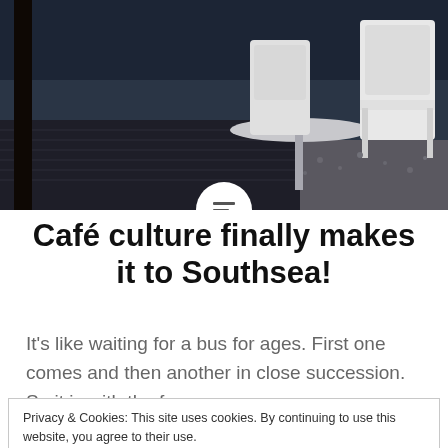[Figure (photo): Outdoor cafe/terrace with white chairs and table on a dark wooden deck with gravel in the background, shot in low light or evening.]
Café culture finally makes it to Southsea!
It's like waiting for a bus for ages. First one comes and then another in close succession.  So it is with the former
Privacy & Cookies: This site uses cookies. By continuing to use this website, you agree to their use.
To find out more, including how to control cookies, see here: Cookie Policy
Close and accept
READ MORE